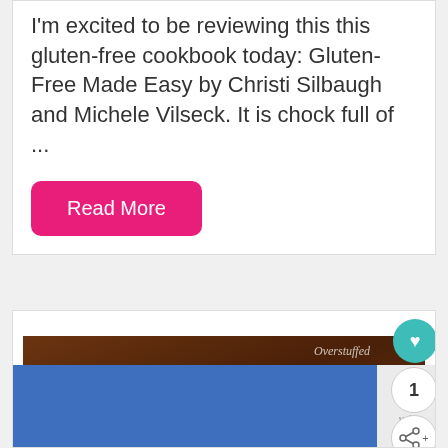I'm excited to be reviewing this this gluten-free cookbook today: Gluten-Free Made Easy by Christi Silbaugh and Michele Vilseck. It is chock full of ...
Read More
[Figure (photo): A white plate with orange citrus cups filled with cream and blueberries on a dark wooden background. Overstuffed watermark visible in top right of image. Social sharing buttons (heart, count=1, share) visible on right edge.]
[Figure (other): Blue advertisement bar at bottom with a close/X button on the right side showing a W logo]